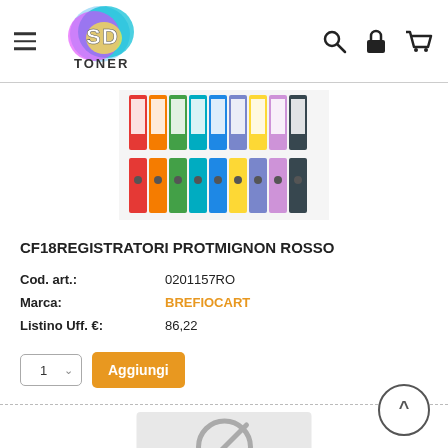[Figure (logo): SD Toner logo with cyan, magenta, yellow ink splash and TONER text below]
[Figure (photo): Row of colorful binder/ring binder folders in multiple colors: red, orange, green, teal, blue, light blue, yellow, purple, black, shown from spine and front]
CF18REGISTRATORI PROTMIGNON ROSSO
Cod. art.: 0201157RO
Marca: BREFIOCART
Listino Uff. €: 86,22
[Figure (illustration): No-image placeholder: grey circle with diagonal line through it (prohibited symbol) on light grey background]